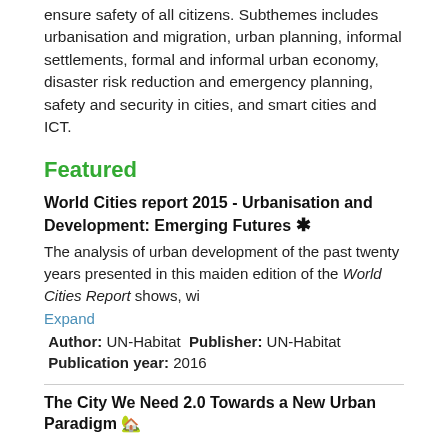ensure safety of all citizens. Subthemes includes urbanisation and migration, urban planning, informal settlements, formal and informal urban economy, disaster risk reduction and emergency planning, safety and security in cities, and smart cities and ICT.
Featured
World Cities report 2015 - Urbanisation and Development: Emerging Futures *
The analysis of urban development of the past twenty years presented in this maiden edition of the World Cities Report shows, wi
Expand
Author: UN-Habitat Publisher: UN-Habitat Publication year: 2016
The City We Need 2.0 Towards a New Urban Paradigm